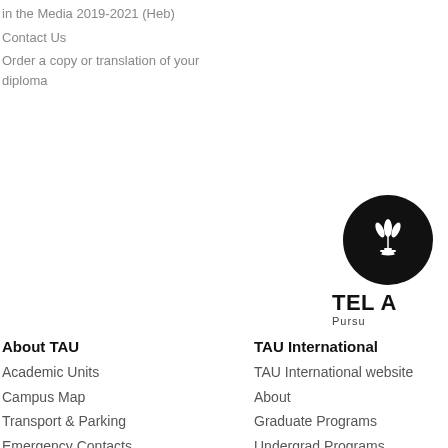in the Media 2019-2021 (Heb)
Contact Us
Order a copy or translation of your diploma
[Figure (logo): Tel Aviv University circular black logo with leaf/wheat symbol, with text TEL A... and Pursu... below]
About TAU
Academic Units
Campus Map
Transport & Parking
Emergency Contacts
Phone Directory
TAU International
TAU International website
About
Graduate Programs
Undergrad Programs
Language Programs